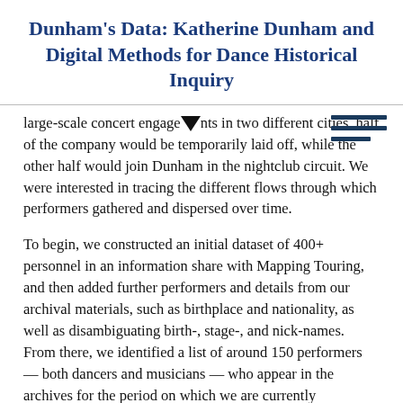Dunham's Data: Katherine Dunham and Digital Methods for Dance Historical Inquiry
large-scale concert engagements in two different cities, half of the company would be temporarily laid off, while the other half would join Dunham in the nightclub circuit. We were interested in tracing the different flows through which performers gathered and dispersed over time.
To begin, we constructed an initial dataset of 400+ personnel in an information share with Mapping Touring, and then added further performers and details from our archival materials, such as birthplace and nationality, as well as disambiguating birth-, stage-, and nick-names. From there, we identified a list of around 150 performers — both dancers and musicians — who appear in the archives for the period on which we are currently